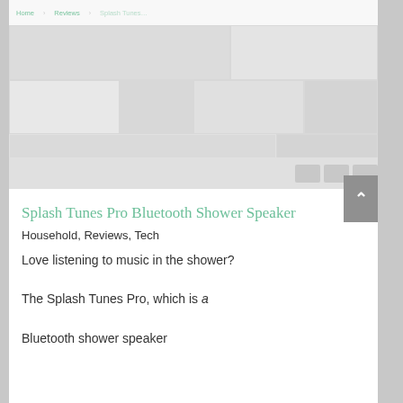[Figure (screenshot): Faded website screenshot showing a navigation bar and image grid area at the top of a blog/review page]
Splash Tunes Pro Bluetooth Shower Speaker
Household, Reviews, Tech
Love listening to music in the shower? The Splash Tunes Pro, which is a Bluetooth shower speaker